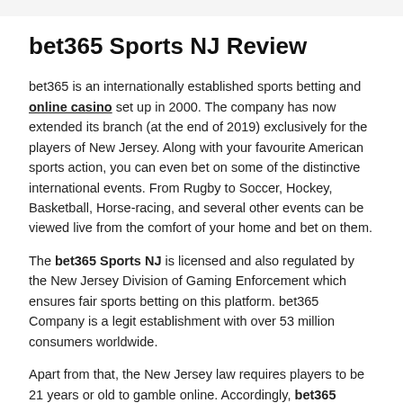bet365 Sports NJ Review
bet365 is an internationally established sports betting and online casino set up in 2000. The company has now extended its branch (at the end of 2019) exclusively for the players of New Jersey. Along with your favourite American sports action, you can even bet on some of the distinctive international events. From Rugby to Soccer, Hockey, Basketball, Horse-racing, and several other events can be viewed live from the comfort of your home and bet on them.
The bet365 Sports NJ is licensed and also regulated by the New Jersey Division of Gaming Enforcement which ensures fair sports betting on this platform. bet365 Company is a legit establishment with over 53 million consumers worldwide.
Apart from that, the New Jersey law requires players to be 21 years or old to gamble online. Accordingly, bet365 sports New Jersey has made provisions to allow punters of this prescribed age. While they encourage gambling for fun and in controlled ways, they absolutely